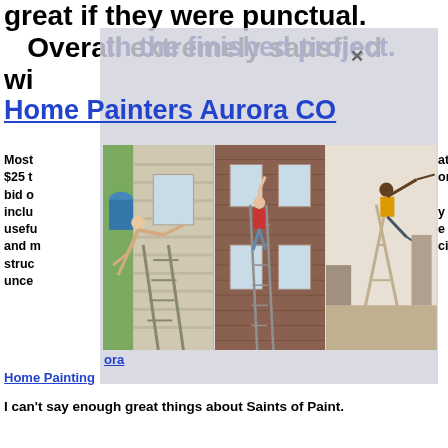great if they were punctual. Overall extremely satisfied with the finished project.
Home Painters Aurora CO
[Figure (photo): Three photos side by side showing people on ladders painting house exteriors and one indoor scene]
Most [obscured] at $25 t[obscured] ors bid o[obscured] includ[obscured] y usefu[obscured] e and m[obscured] cing struc[obscured] unce[obscured] ora Home Painting
I can't say enough great things about Saints of Paint.